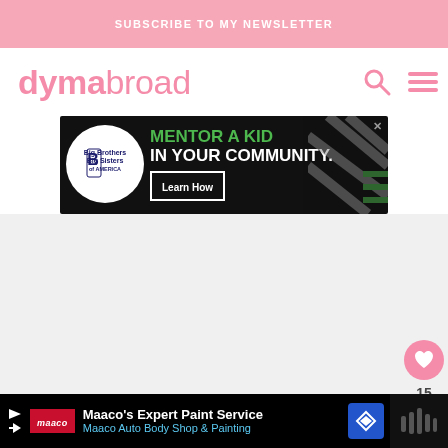SUBSCRIBE TO MY NEWSLETTER
dymabroad
[Figure (screenshot): Big Brothers Big Sisters MENTOR A KID IN YOUR COMMUNITY advertisement banner with Learn How button]
[Figure (screenshot): Social sharing sidebar with heart/like button showing count 15 and share button]
[Figure (screenshot): Maaco Expert Paint Service bottom advertisement banner]